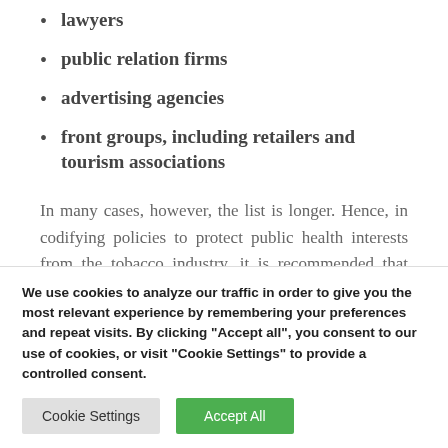lawyers
public relation firms
advertising agencies
front groups, including retailers and tourism associations
In many cases, however, the list is longer. Hence, in codifying policies to protect public health interests from the tobacco industry, it is recommended that governments adopt a broad definition to cover all
We use cookies to analyze our traffic in order to give you the most relevant experience by remembering your preferences and repeat visits. By clicking "Accept all", you consent to our use of cookies, or visit "Cookie Settings" to provide a controlled consent.